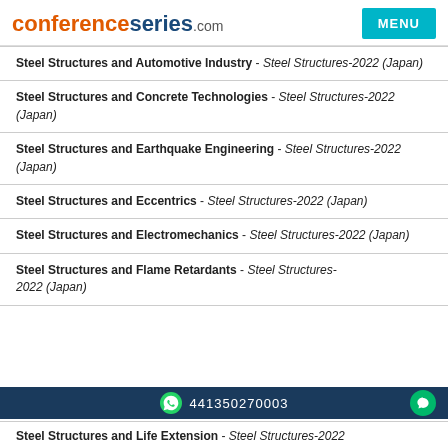conferenceseries.com — MENU
Steel Structures and Automotive Industry - Steel Structures-2022 (Japan)
Steel Structures and Concrete Technologies - Steel Structures-2022 (Japan)
Steel Structures and Earthquake Engineering - Steel Structures-2022 (Japan)
Steel Structures and Eccentrics - Steel Structures-2022 (Japan)
Steel Structures and Electromechanics - Steel Structures-2022 (Japan)
Steel Structures and Flame Retardants - Steel Structures-2022 (Japan)
441350270003
Steel Structures and Life Extension - Steel Structures-2022